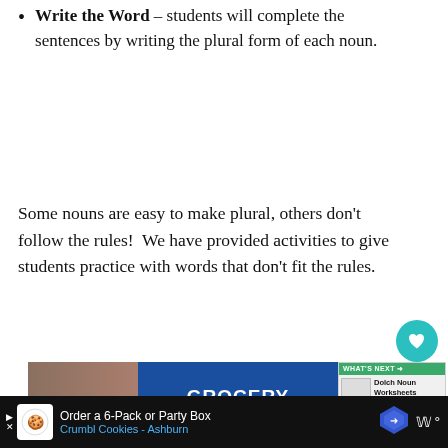Write the Word – students will complete the sentences by writing the plural form of each noun.
Some nouns are easy to make plural, others don't follow the rules!  We have provided activities to give students practice with words that don't fit the rules.
[Figure (screenshot): Advertisement image showing a grocery worker and blue box with text 'GROCERY WORKER'S' alongside a 'What's Next' panel for Dolch Noun Worksheets]
[Figure (screenshot): Bottom advertisement bar for Crumbl Cookies Ashburn: Order a 6-Pack or Party Box]